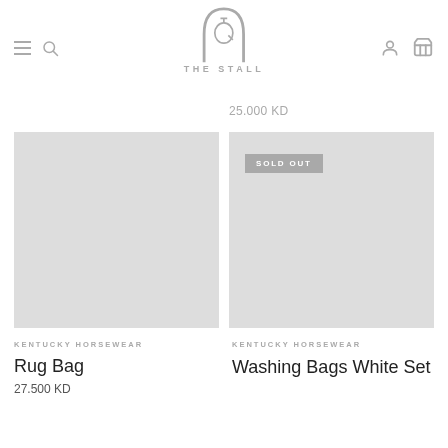THE STALL
25.000 KD
[Figure (photo): Product image placeholder for Rug Bag (light grey rectangle)]
KENTUCKY HORSEWEAR
Rug Bag
27.500 KD
[Figure (photo): Product image placeholder for Washing Bags White Set (light grey rectangle) with SOLD OUT badge]
KENTUCKY HORSEWEAR
Washing Bags White Set